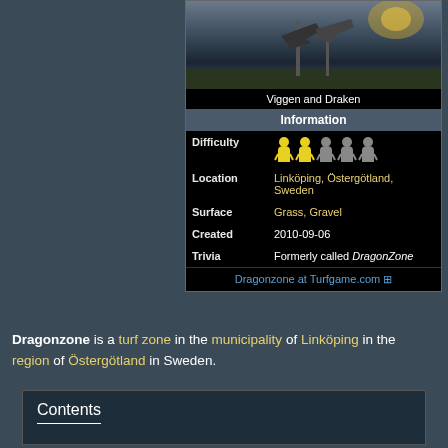[Figure (photo): Photo of Viggen and Draken aircraft monuments/statues against a dusky sky]
Viggen and Draken
| Information |  |
| Difficulty | (5 person icons, 2 yellow 3 grey) |
| Location | Linköping, Östergötland, Sweden |
| Surface | Grass, Gravel |
| Created | 2010-09-06 |
| Trivia | Formerly called DragonZone |
|  | Dragonzone at Turfgame.com ⊞ |
Dragonzone is a turf zone in the municipality of Linköping in the region of Östergötland in Sweden.
Contents